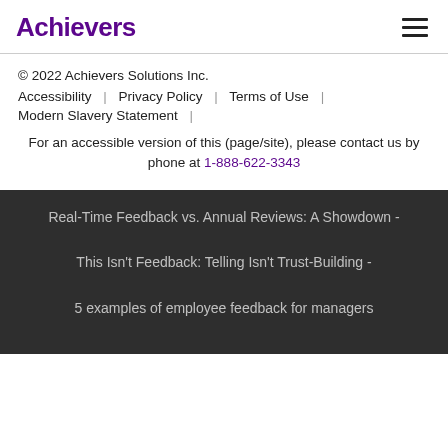Achievers
© 2022 Achievers Solutions Inc.
Accessibility | Privacy Policy | Terms of Use |
Modern Slavery Statement |
For an accessible version of this (page/site), please contact us by phone at 1-888-622-3343
Real-Time Feedback vs. Annual Reviews: A Showdown -
This Isn't Feedback: Telling Isn't Trust-Building -
5 examples of employee feedback for managers